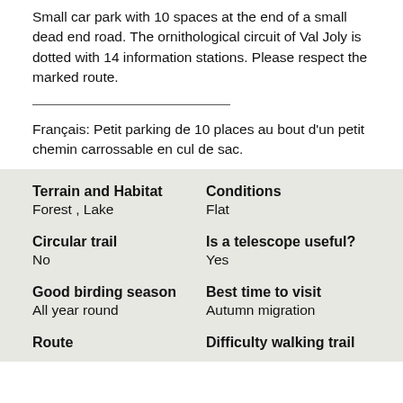Small car park with 10 spaces at the end of a small dead end road. The ornithological circuit of Val Joly is dotted with 14 information stations. Please respect the marked route.
Français: Petit parking de 10 places au bout d'un petit chemin carrossable en cul de sac.
| Terrain and Habitat | Conditions |
| --- | --- |
| Forest , Lake | Flat |
| Circular trail | Is a telescope useful? |
| --- | --- |
| No | Yes |
| Good birding season | Best time to visit |
| --- | --- |
| All year round | Autumn migration |
| Route | Difficulty walking trail |
| --- | --- |
|  |  |